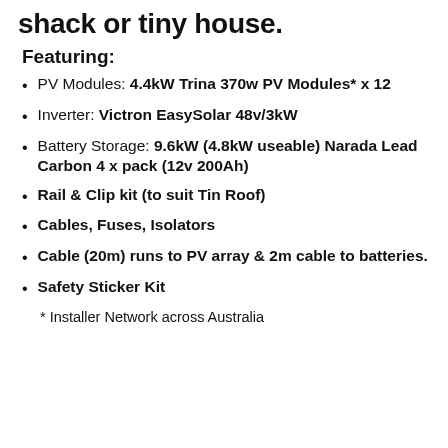shack or tiny house.
Featuring:
PV Modules: 4.4kW Trina 370w PV Modules* x 12
Inverter: Victron EasySolar 48v/3kW
Battery Storage: 9.6kW (4.8kW useable) Narada Lead Carbon 4 x pack (12v 200Ah)
Rail & Clip kit (to suit Tin Roof)
Cables, Fuses, Isolators
Cable (20m) runs to PV array & 2m cable to batteries.
Safety Sticker Kit
* Installer Network across Australia